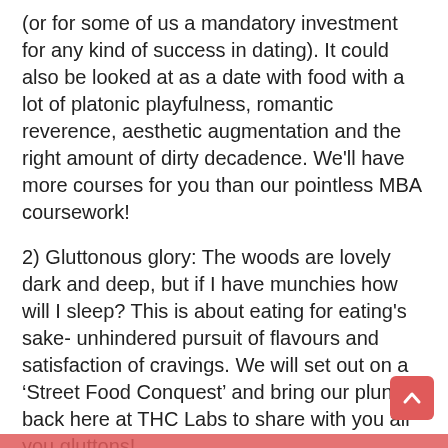(or for some of us a mandatory investment for any kind of success in dating). It could also be looked at as a date with food with a lot of platonic playfulness, romantic reverence, aesthetic augmentation and the right amount of dirty decadence. We'll have more courses for you than our pointless MBA coursework!
2) Gluttonous glory: The woods are lovely dark and deep, but if I have munchies how will I sleep? This is about eating for eating's sake- unhindered pursuit of flavours and satisfaction of cravings. We will set out on a 'Street Food Conquest' and bring our plunder back here at THC Labs to share with you all you gluttons!
3) Chef's cauldron: This is where the magic begins! Will we ever run out of dishes to cook? It is not just heating/frying/baking